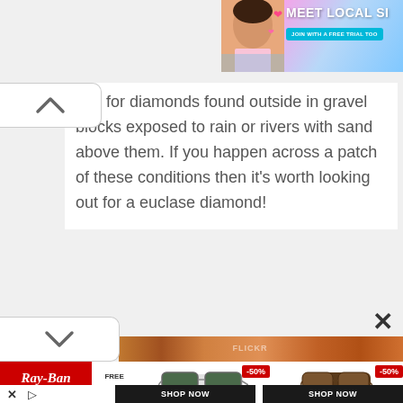[Figure (photo): Advertisement banner: woman photo with hearts, text 'MEET LOCAL SI' and 'JOIN WITH A FREE TRIAL TOO...' on colorful gradient background]
nes for diamonds found outside in gravel blocks exposed to rain or rivers with sand above them. If you happen across a patch of these conditions then it's worth looking out for a euclase diamond!
[Figure (screenshot): Ray-Ban advertisement with sunglasses, free shipping offer, -50% discount badges, and SHOP NOW buttons]